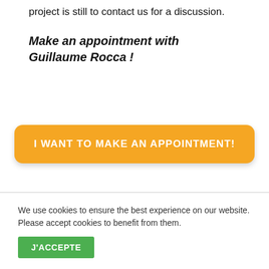project is still to contact us for a discussion.
Make an appointment with Guillaume Rocca !
I WANT TO MAKE AN APPOINTMENT!
We use cookies to ensure the best experience on our website. Please accept cookies to benefit from them.
J'ACCEPTE